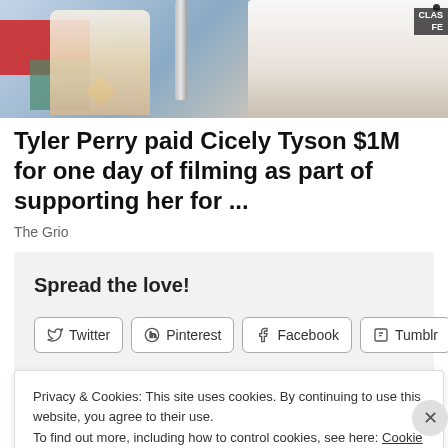[Figure (photo): Photo of people at what appears to be a film festival event, with red backdrop and signage partially visible reading 'CLAS FE']
Tyler Perry paid Cicely Tyson $1M for one day of filming as part of supporting her for ...
The Grio
Spread the love!
Twitter  Pinterest  Facebook  Tumblr
Privacy & Cookies: This site uses cookies. By continuing to use this website, you agree to their use.
To find out more, including how to control cookies, see here: Cookie Policy
Close and accept